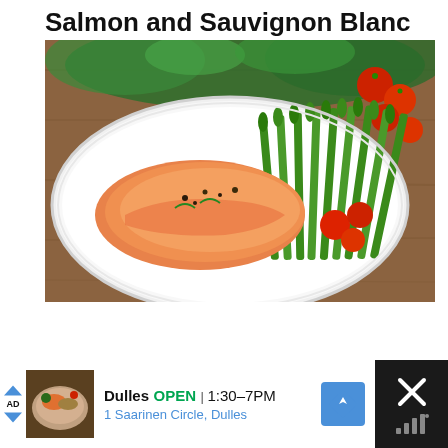Salmon and Sauvignon Blanc
[Figure (photo): A cooked salmon fillet with asparagus spears and cherry tomatoes on a white plate, on a wooden table with herbs and tomatoes in the background.]
[Figure (infographic): Advertisement bar at bottom: Dulles restaurant ad showing OPEN 1:30-7PM, 1 Saarinen Circle, Dulles, with a food thumbnail, navigation icon, and close button.]